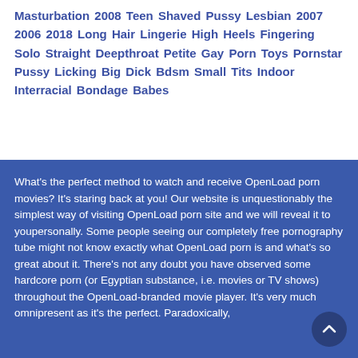Masturbation 2008 Teen Shaved Pussy Lesbian 2007 2006 2018 Long Hair Lingerie High Heels Fingering Solo Straight Deepthroat Petite Gay Porn Toys Pornstar Pussy Licking Big Dick Bdsm Small Tits Indoor Interracial Bondage Babes
What's the perfect method to watch and receive OpenLoad porn movies? It's staring back at you! Our website is unquestionably the simplest way of visiting OpenLoad porn site and we will reveal it to youpersonally. Some people seeing our completely free pornography tube might not know exactly what OpenLoad porn is and what's so great about it. There's not any doubt you have observed some hardcore porn (or Egyptian substance, i.e. movies or TV shows) throughout the OpenLoad-branded movie player. It's very much omnipresent as it's the perfect. Paradoxically,